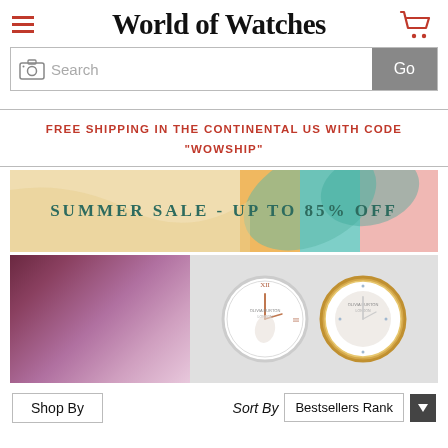World of Watches
Search
FREE SHIPPING IN THE CONTINENTAL US WITH CODE "WOWSHIP"
[Figure (illustration): Summer Sale - Up To 85% Off banner with colorful tropical background]
[Figure (photo): Watch product banner showing two Olivia Burton watches on a purple/pink fabric background]
Shop By
Sort By  Bestsellers Rank